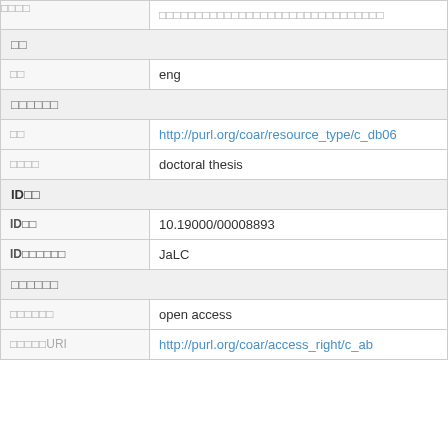| □□□□ | □□□□□□□□□□□□□□□□□□□□□□□□□□□□□ |
| □□ |  |
| □□ | eng |
| □□□□□□ |  |
| □□ | http://purl.org/coar/resource_type/c_db06 |
| □□□□ | doctoral thesis |
| ID□□ |  |
| ID□□ | 10.19000/00008893 |
| ID□□□□□□ | JaLC |
| □□□□□□ |  |
| □□□□□□ | open access |
| □□□□□URI | http://purl.org/coar/access_right/c_ab |